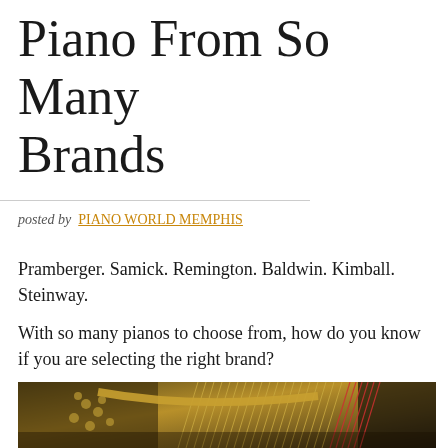Piano From So Many Brands
posted by PIANO WORLD MEMPHIS
Pramberger. Samick. Remington. Baldwin. Kimball. Steinway.
With so many pianos to choose from, how do you know if you are selecting the right brand?
[Figure (photo): Interior view of a grand piano showing strings, tuning pins, hammers, and soundboard in gold and dark tones]